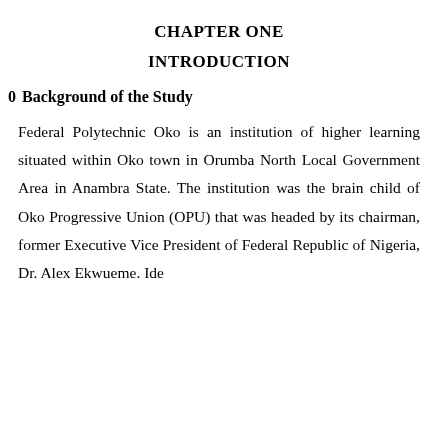CHAPTER ONE
INTRODUCTION
Background of the Study
Federal Polytechnic Oko is an institution of higher learning situated within Oko town in Orumba North Local Government Area in Anambra State. The institution was the brain child of Oko Progressive Union (OPU) that was headed by its chairman, former Executive Vice President of Federal Republic of Nigeria, Dr. Alex Ekwueme. Ide